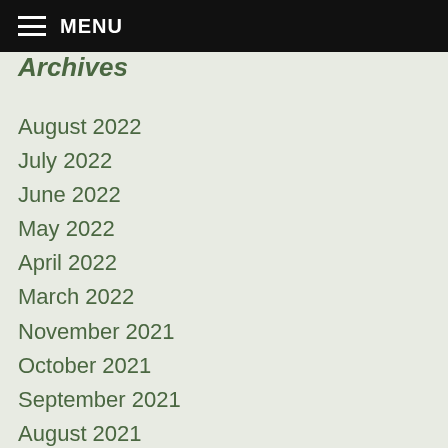MENU
Archives
August 2022
July 2022
June 2022
May 2022
April 2022
March 2022
November 2021
October 2021
September 2021
August 2021
July 2021
June 2021
May 2021
April 2021
March 2021
February 2021